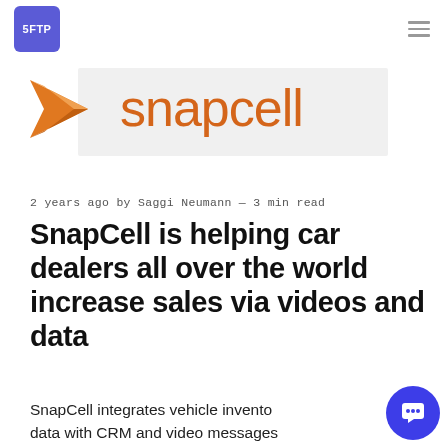SFTP (logo) | hamburger menu
[Figure (logo): SnapCell logo with orange paper airplane arrow and orange text 'snapcell' on a light grey background rectangle]
2 years ago by Saggi Neumann — 3 min read
SnapCell is helping car dealers all over the world increase sales via videos and data
SnapCell integrates vehicle inventory data with CRM and video messages